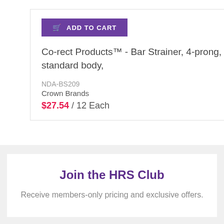[Figure (other): Add to Cart button with purple background and shopping cart icon]
Co-rect Products™ - Bar Strainer, 4-prong, standard body,
NDA-BS209
Crown Brands
$27.54 / 12 Each
Join the HRS Club
Receive members-only pricing and exclusive offers.